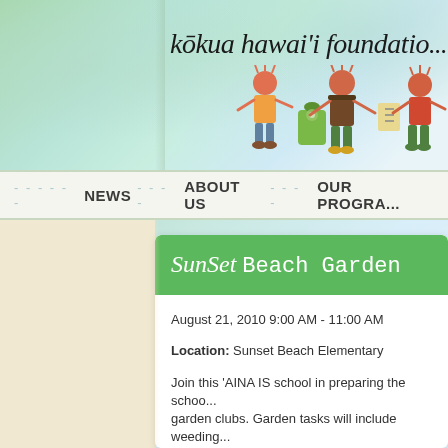[Figure (screenshot): Kōkua Hawai'i Foundation website header with watercolor green/teal background, cartoon children illustrations, and organization name]
kōkua hawai'i foundatio...
NEWS   ABOUT US   OUR PROGRA...
Sunset Beach Garden
August 21, 2010 9:00 AM - 11:00 AM
Location: Sunset Beach Elementary
Join this 'AINA IS school in preparing the school garden clubs. Garden tasks will include weeding...